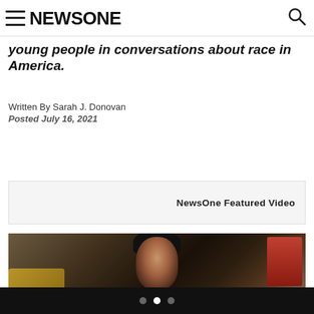NEWSONE
young people in conversations about race in America.
Written By Sarah J. Donovan
Posted July 16, 2021
NewsOne Featured Video
[Figure (photo): Photo of a person with dark curly hair seated on a couch with colorful cushions]